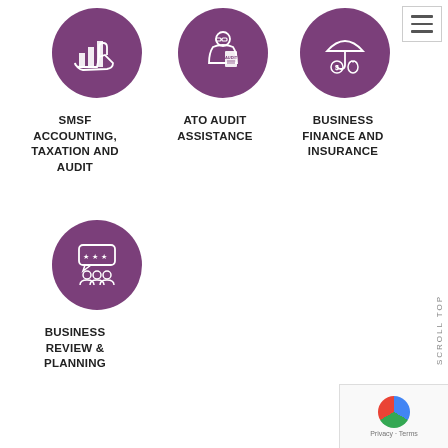[Figure (illustration): Purple circle icon with a hand holding bar charts (financial growth symbol)]
[Figure (illustration): Purple circle icon with a person holding an audit clipboard]
[Figure (illustration): Purple circle icon with umbrella, dollar sign money bag (insurance symbol), and hamburger menu icon overlay]
SMSF ACCOUNTING, TAXATION AND AUDIT
ATO AUDIT ASSISTANCE
BUSINESS FINANCE AND INSURANCE
[Figure (illustration): Purple circle icon with speech bubble showing stars and people silhouettes (review/feedback symbol)]
BUSINESS REVIEW & PLANNING